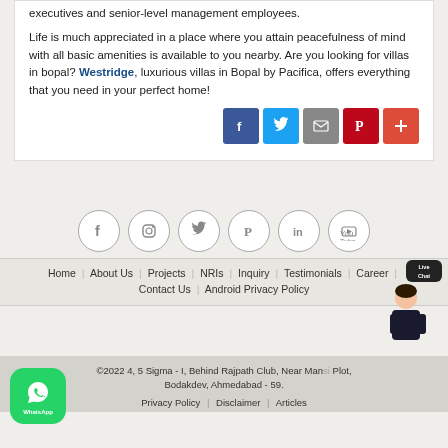executives and senior-level management employees.
Life is much appreciated in a place where you attain peacefulness of mind with all basic amenities is available to you nearby. Are you looking for villas in bopal? Westridge, luxurious villas in Bopal by Pacifica, offers everything that you need in your perfect home!
[Figure (infographic): Social share buttons: Facebook (blue), Twitter (light blue), Email (gray), Pinterest (red), Plus (orange-red)]
[Figure (infographic): Social media icon circles: Facebook, Instagram, Twitter, Pinterest, LinkedIn, YouTube]
Home | About Us | Projects | NRIs | Inquiry | Testimonials | Career | Contact Us | Android Privacy Policy
[Figure (illustration): Live chat avatar: cartoon woman in suit with Live Chat speech bubble]
©2022 4, 5 Sigma - I, Behind Rajpath Club, Near Mansi Plot, Bodakdev, Ahmedabad - 59.
Privacy Policy | Disclaimer | Articles
[Figure (logo): WhatsApp green rounded square button with WhatsApp icon and label]